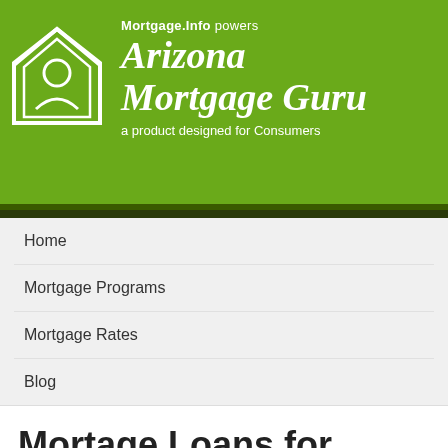[Figure (logo): Arizona Mortgage Guru logo with house icon, 'Mortgage.Info powers Arizona Mortgage Guru, a product designed for Consumers' on green background]
Home
Mortgage Programs
Mortgage Rates
Blog
Mortage Loans for Canadians in Arizona Dries Up
October 9, 2008, 2:36, pm By Az Mortgage Guru
Attention Canadian Nationals!